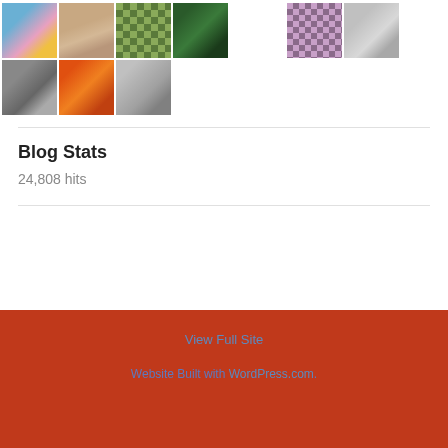[Figure (photo): Grid of user avatar images — two rows of profile pictures including illustrated, photographic, and patterned avatars]
Blog Stats
24,808 hits
View Full Site
Website Built with WordPress.com.